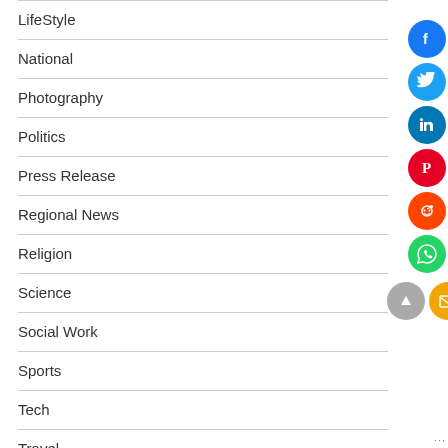LifeStyle
National
Photography
Politics
Press Release
Regional News
Religion
Science
Social Work
Sports
Tech
Travel
[Figure (illustration): Social media share buttons sidebar: Facebook (blue), Twitter (blue), LinkedIn (blue), Pinterest (red), Reddit (orange-red), WhatsApp (green), scroll-up (gray), email (yellow/orange)]